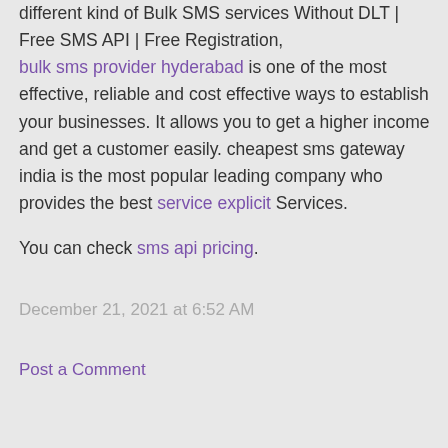different kind of Bulk SMS services Without DLT | Free SMS API | Free Registration, bulk sms provider hyderabad is one of the most effective, reliable and cost effective ways to establish your businesses. It allows you to get a higher income and get a customer easily. cheapest sms gateway india is the most popular leading company who provides the best service explicit Services.
You can check sms api pricing.
December 21, 2021 at 6:52 AM
Post a Comment